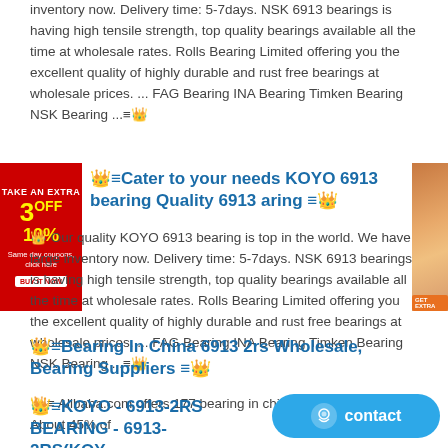inventory now. Delivery time: 5-7days. NSK 6913 bearings is having high tensile strength, top quality bearings available all the time at wholesale rates. Rolls Bearing Limited offering you the excellent quality of highly durable and rust free bearings at wholesale prices. ... FAG Bearing INA Bearing Timken Bearing NSK Bearing ...
Cater to your needs KOYO 6913 bearing Quality 6913 bearing
Our quality KOYO 6913 bearing is top in the world. We have large inventory now. Delivery time: 5-7days. NSK 6913 bearings is having high tensile strength, top quality bearings available all the time at wholesale rates. Rolls Bearing Limited offering you the excellent quality of highly durable and rust free bearings at wholesale prices. ... FAG Bearing INA Bearing Timken Bearing NSK Bearing ...
Bearing In China 6913 2rs Wholesale, Bearing Suppliers
Alibaba.com offers 177 bearing in china 6913 2rs products. About 45% of these are deep groove ball bearing, 1% are angular contact ball bearing. A wide variety of bearing in china 6913 2rs options are available to you, such as ball, roller.
KOYO - 6913-2RS BEARING - 6913-2RS(KOY...